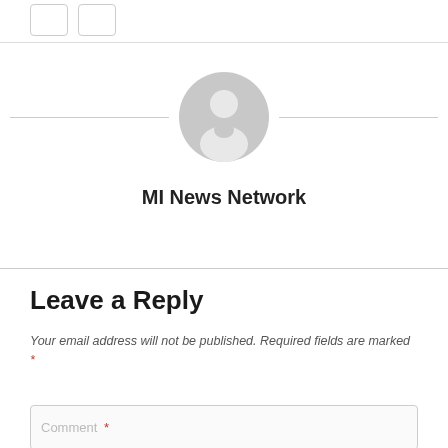[Figure (illustration): Default user avatar — a grey silhouette of a person inside a grey circle, flanked by horizontal lines on both sides]
MI News Network
Leave a Reply
Your email address will not be published. Required fields are marked *
Comment *